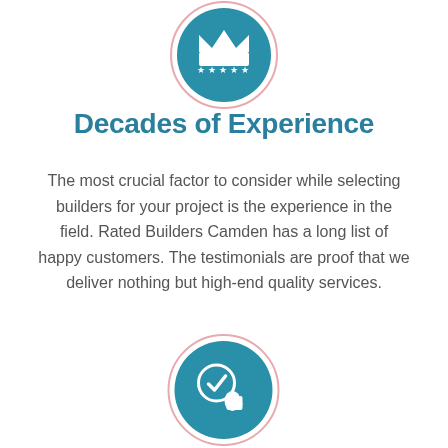[Figure (illustration): Teal circular icon with a crown and five stars, with a thin red/pink ring border around the circle, partially cut off at top]
Decades of Experience
The most crucial factor to consider while selecting builders for your project is the experience in the field. Rated Builders Camden has a long list of happy customers. The testimonials are proof that we deliver nothing but high-end quality services.
[Figure (illustration): Teal circular icon showing a checkmark with a cursor/hand pointer, with a thin red/pink ring border around the circle, partially cut off at bottom]